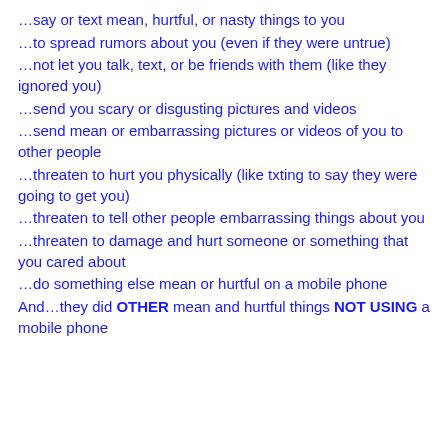…say or text mean, hurtful, or nasty things to you
…to spread rumors about you (even if they were untrue)
…not let you talk, text, or be friends with them (like they ignored you)
…send you scary or disgusting pictures and videos
…send mean or embarrassing pictures or videos of you to other people
…threaten to hurt you physically (like txting to say they were going to get you)
…threaten to tell other people embarrassing things about you
…threaten to damage and hurt someone or something that you cared about
…do something else mean or hurtful on a mobile phone
And…they did OTHER mean and hurtful things NOT USING a mobile phone